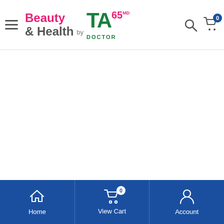[Figure (screenshot): Website header for 'Beauty & Health by TA65 MD Doctor' with hamburger menu icon on left, logo in center-left, search and cart icons on right. Cart shows badge with 0.]
Home | View Cart (0) | Account